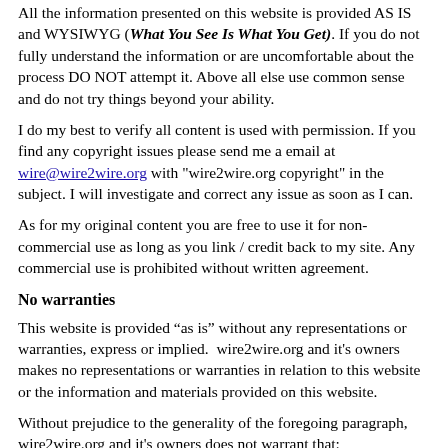All the information presented on this website is provided AS IS and WYSIWYG (What You See Is What You Get). If you do not fully understand the information or are uncomfortable about the process DO NOT attempt it. Above all else use common sense and do not try things beyond your ability.
I do my best to verify all content is used with permission. If you find any copyright issues please send me a email at wire@wire2wire.org with "wire2wire.org copyright" in the subject. I will investigate and correct any issue as soon as I can.
As for my original content you are free to use it for non-commercial use as long as you link / credit back to my site. Any commercial use is prohibited without written agreement.
No warranties
This website is provided “as is” without any representations or warranties, express or implied.  wire2wire.org and it's owners makes no representations or warranties in relation to this website or the information and materials provided on this website.
Without prejudice to the generality of the foregoing paragraph, wire2wire.org and it's owners does not warrant that:
1.    this website will be constantly available, or available at